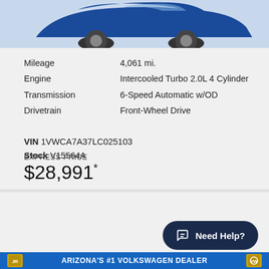[Figure (photo): Partial view of a blue car (front/top visible) on a light gray background]
| Label | Value |
| --- | --- |
| Mileage | 4,061 mi. |
| Engine | Intercooled Turbo 2.0L 4 Cylinder |
| Transmission | 6-Speed Automatic w/OD |
| Drivetrain | Front-Wheel Drive |
VIN 1VWCA7A37LC025103
Stock V15564A
EXPRESS PRICE
$28,991*
2020 Ford
Escape SEL
Need Help?
ARIZONA'S #1 VOLKSWAGEN DEALER